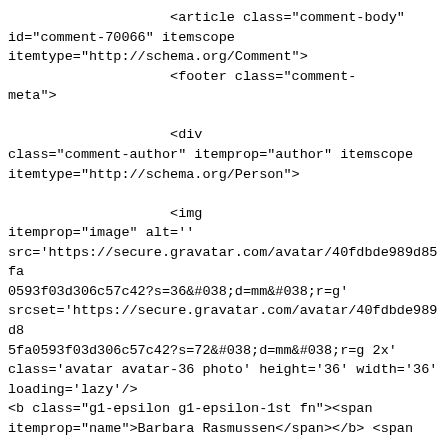<article class="comment-body"
id="comment-70066" itemscope
itemtype="http://schema.org/Comment">
                    <footer class="comment-
meta">

                    <div
class="comment-author" itemprop="author" itemscope
itemtype="http://schema.org/Person">

                    <img
itemprop="image" alt=''
src='https://secure.gravatar.com/avatar/40fdbde989d85fa
0593f03d306c57c42?s=36&#038;d=mm&#038;r=g'
srcset='https://secure.gravatar.com/avatar/40fdbde989d8
5fa0593f03d306c57c42?s=72&#038;d=mm&#038;r=g 2x'
class='avatar avatar-36 photo' height='36' width='36'
loading='lazy'/>
<b class="g1-epsilon g1-epsilon-1st fn"><span
itemprop="name">Barbara Rasmussen</span></b> <span

class="says">says:</span>
                    </div><!--
.comment-author -->

                    <div class="g1-
meta comment-metadata">

                    <a
itemprop="url"
href="https://www.oneingredientchef.com/general-tso-
tofu/#comment-70066">